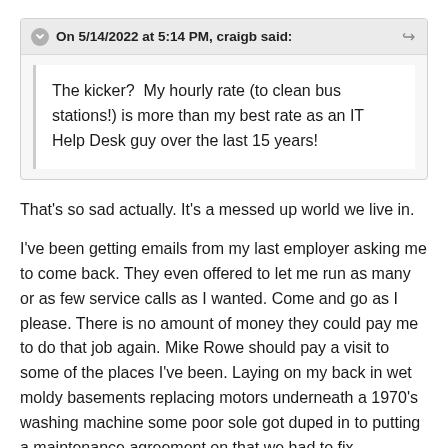On 5/14/2022 at 5:14 PM, craigb said:
The kicker?  My hourly rate (to clean bus stations!) is more than my best rate as an IT Help Desk guy over the last 15 years!
That's so sad actually. It's a messed up world we live in.
I've been getting emails from my last employer asking me to come back. They even offered to let me run as many or as few service calls as I wanted. Come and go as I please. There is no amount of money they could pay me to do that job again. Mike Rowe should pay a visit to some of the places I've been. Laying on my back in wet moldy basements replacing motors underneath a 1970's washing machine some poor sole got duped in to putting a maintenance agreement on that we had to fix. Cockroaches crawling all over you.